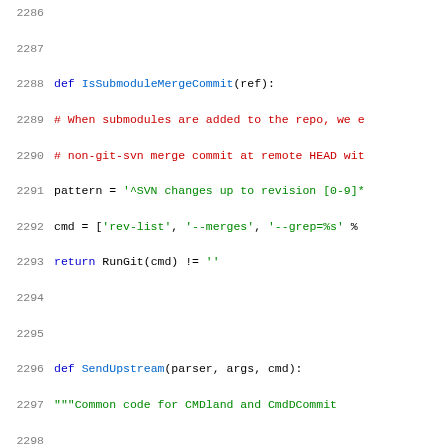[Figure (screenshot): Source code listing in Python showing functions IsSubmoduleMergeCommit and SendUpstream with line numbers 2286-2307]